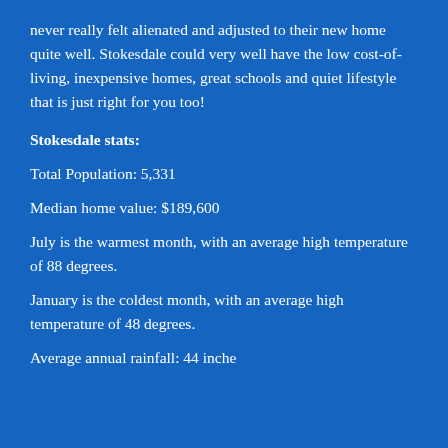never really felt alienated and adjusted to their new home quite well. Stokesdale could very well have the low cost-of-living, inexpensive homes, great schools and quiet lifestyle that is just right for you too!
Stokesdale stats:
Total Population: 5,331
Median home value: $189,600
July is the warmest month, with an average high temperature of 88 degrees.
January is the coldest month, with an average high temperature of 48 degrees.
Average annual rainfall: 44 inches